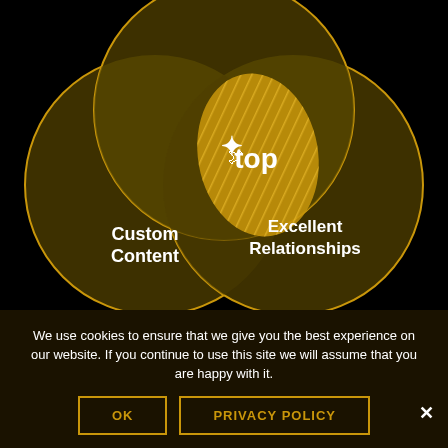[Figure (infographic): Venn diagram with three overlapping dark olive/golden circles on a black background. The top intersection is highlighted in bright golden-yellow with diagonal hatching and contains a white bird logo and the word 'top'. The left circle is labeled 'Custom Content' in white bold text. The right circle is labeled 'Excellent Relationships' in white bold text.]
We use cookies to ensure that we give you the best experience on our website. If you continue to use this site we will assume that you are happy with it.
OK
PRIVACY POLICY